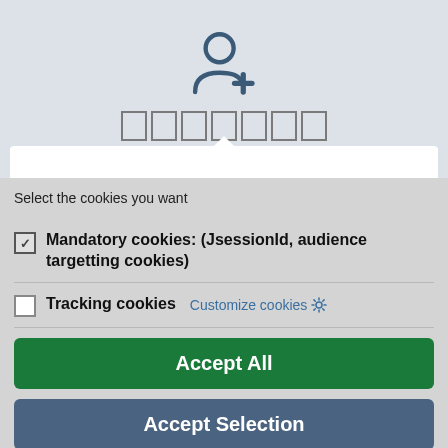[Figure (illustration): User account icon with a plus sign, shown in dark blue outline style on a light grey background]
XXXXXXX (redacted/masked text)
Select the cookies you want
Mandatory cookies: (JsessionId, audience targetting cookies) — checked checkbox
Tracking cookies  Customize cookies ⚙ — unchecked checkbox
Accept All
Accept Selection
Only Mandatory